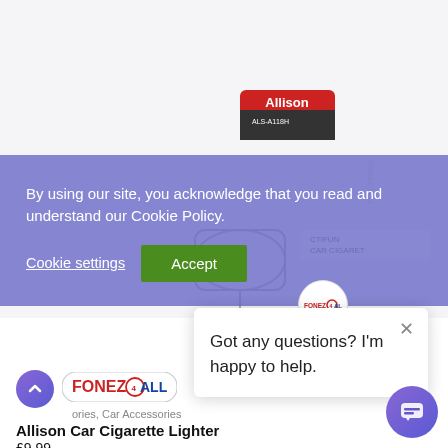[Figure (screenshot): Product image of Allison Car Cigarette Lighter (ALS-A118H) showing the device with Allison branding label on a white background]
By using our site, you acknowledge that you read and understand our Cookie Policy.
Cookie settings
Accept
[Figure (logo): FONEZ4ALL logo in red and blue circular badge style]
Got any questions? I'm happy to help.
ories, Car Accessories
Allison Car Cigarette Lighter
£9.99